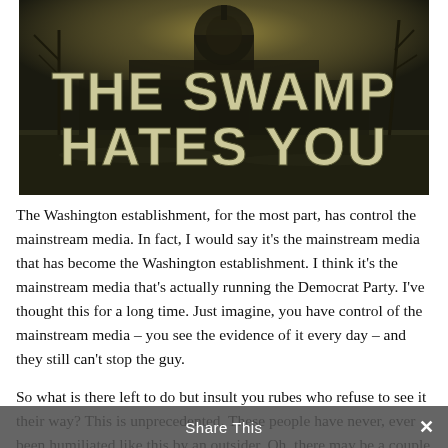[Figure (illustration): Dark dystopian image of the U.S. Capitol building with swamp water in the foreground and dead trees. Large bold text overlay reads 'THE SWAMP HATES YOU'.]
The Washington establishment, for the most part, has control the mainstream media. In fact, I would say it's the mainstream media that has become the Washington establishment. I think it's the mainstream media that's actually running the Democrat Party. I've thought this for a long time. Just imagine, you have control of the mainstream media – you see the evidence of it every day – and they still can't stop the guy.
So what is there left to do but insult you rubes who refuse to see it their way? This is unprecedented. These people have never, ever been humiliated like this by an outsider. Oh, there may be a couple of instances where an
Share This